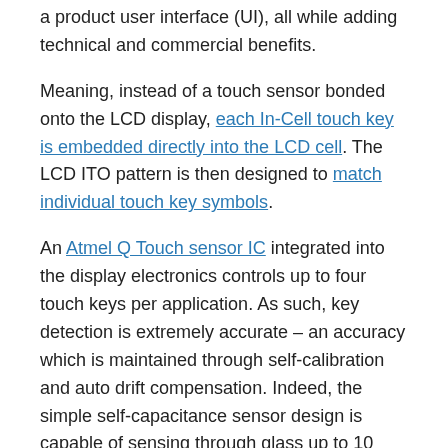a product user interface (UI), all while adding technical and commercial benefits.
Meaning, instead of a touch sensor bonded onto the LCD display, each In-Cell touch key is embedded directly into the LCD cell. The LCD ITO pattern is then designed to match individual touch key symbols.
An Atmel Q Touch sensor IC integrated into the display electronics controls up to four touch keys per application. As such, key detection is extremely accurate – an accuracy which is maintained through self-calibration and auto drift compensation. Indeed, the simple self-capacitance sensor design is capable of sensing through glass up to 10 mm thick, or plastic of up to 5 mm. It operates from 1.8 to 5.5VDC.
With no external touch sensor, full optical transmissivity is preserved, while the display module is thinner, lighter and easier to integrate. It also reduces the display surface fully...